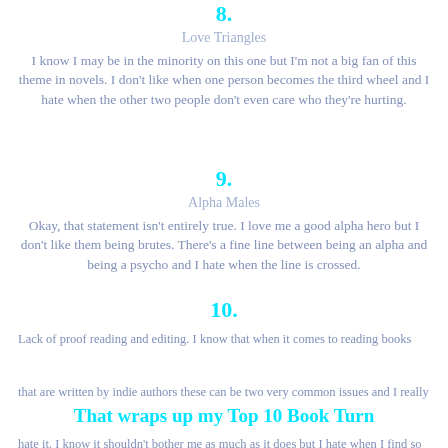8.
Love Triangles
I know I may be in the minority on this one but I'm not a big fan of this theme in novels. I don't like when one person becomes the third wheel and I hate when the other two people don't even care who they're hurting.
9.
Alpha Males
Okay, that statement isn't entirely true. I love me a good alpha hero but I don't like them being brutes. There's a fine line between being an alpha and being a psycho and I hate when the line is crossed.
10.
Lack of proof reading and editing. I know that when it comes to reading books that are written by indie authors these can be two very common issues and I really hate it. I know it shouldn't bother me as much as it does but I hate when I find so many things wrong that could have been fixed in the editing stage but weren't.
That wraps up my Top 10 Book Turn